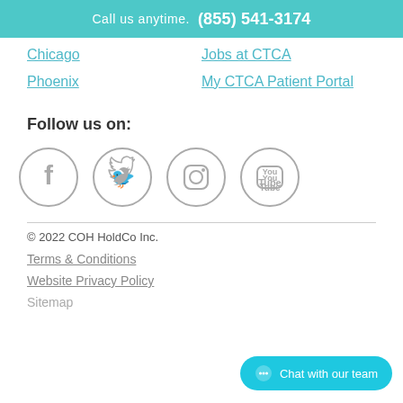Call us anytime. (855) 541-3174
Chicago
Jobs at CTCA
Phoenix
My CTCA Patient Portal
Follow us on:
[Figure (other): Social media icons: Facebook, Twitter, Instagram, YouTube — circular gray outlined icons]
© 2022 COH HoldCo Inc.
Terms & Conditions
Website Privacy Policy
Sitemap
Chat with our team